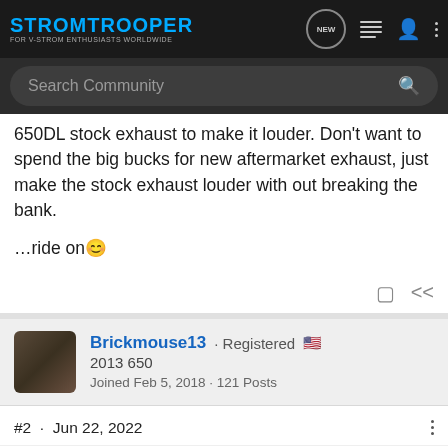STROMTROOPER - FOR V-STROM ENTHUSIASTS WORLDWIDE
650DL stock exhaust to make it louder. Don't want to spend the big bucks for new aftermarket exhaust, just make the stock exhaust louder with out breaking the bank.

...ride on
Brickmouse13 · Registered 🇺🇸
2013 650
Joined Feb 5, 2018 · 121 Posts
#2 · Jun 22, 2022
For that you'll be rippin out and drillin holes, not adding I think.